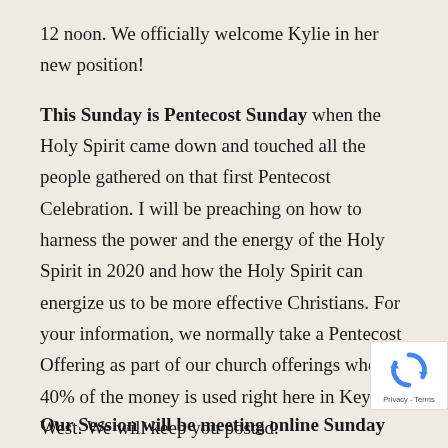12 noon. We officially welcome Kylie in her new position!
This Sunday is Pentecost Sunday when the Holy Spirit came down and touched all the people gathered on that first Pentecost Celebration. I will be preaching on how to harness the power and the energy of the Holy Spirit in 2020 and how the Holy Spirit can energize us to be more effective Christians. For your information, we normally take a Pentecost Offering as part of our church offerings where 40% of the money is used right here in Key West. We will keep you posted.
Our Session will be meeting online Sunday